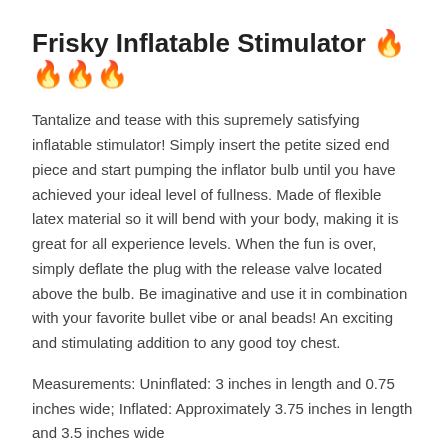Frisky Inflatable Stimulator 🔥🔥🔥🔥
Tantalize and tease with this supremely satisfying inflatable stimulator! Simply insert the petite sized end piece and start pumping the inflator bulb until you have achieved your ideal level of fullness. Made of flexible latex material so it will bend with your body, making it is great for all experience levels. When the fun is over, simply deflate the plug with the release valve located above the bulb. Be imaginative and use it in combination with your favorite bullet vibe or anal beads! An exciting and stimulating addition to any good toy chest.
Measurements: Uninflated: 3 inches in length and 0.75 inches wide; Inflated: Approximately 3.75 inches in length and 3.5 inches wide